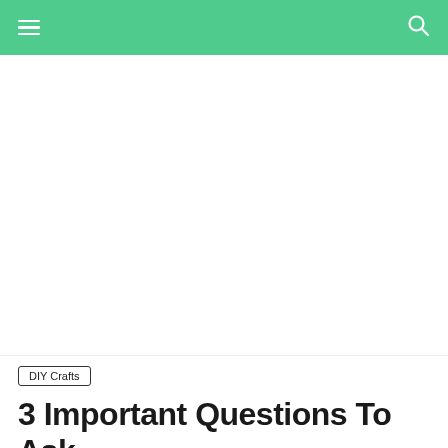DIY Crafts blog navigation header
[Figure (other): Large white/blank image area below the navigation header]
DIY Crafts
3 Important Questions To Ask